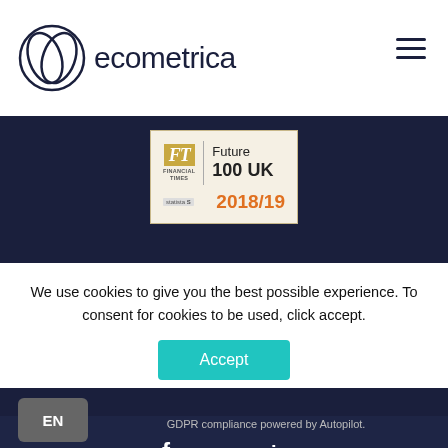ecometrica
[Figure (logo): FT Financial Times Future 100 UK 2018/19 badge with Statista logo]
[Figure (illustration): Dark navy footer area with social media icons: Facebook, Twitter, LinkedIn, Vimeo, GitHub]
We use cookies to give you the best possible experience. To consent for cookies to be used, click accept.
Accept
GDPR compliance powered by Autopilot.